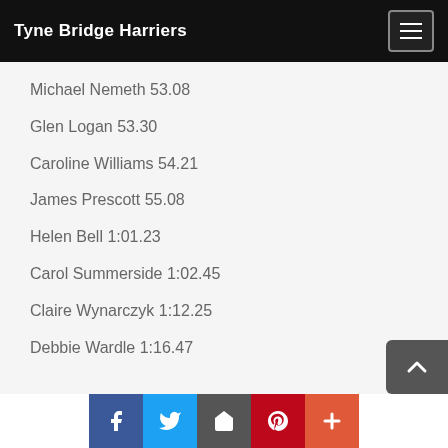Tyne Bridge Harriers
Michael Nemeth 53.08
Glen Logan 53.30
Caroline Williams 54.21
James Prescott 55.08
Helen Bell 1:01.23
Carol Summerside 1:02.45
Claire Wynarczyk 1:12.25
Debbie Wardle 1:16.47